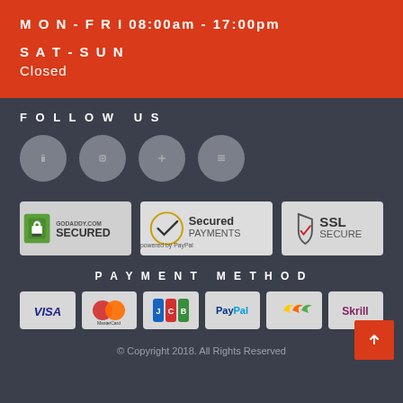MON - FRI 08:00am - 17:00pm
SAT - SUN
Closed
FOLLOW US
[Figure (infographic): Four grey circular social media icon buttons]
[Figure (infographic): Three security badges: GoDaddy.com Secured, Secured Payments powered by PayPal, SSL Secure]
PAYMENT METHOD
[Figure (infographic): Six payment method logos: VISA, MasterCard, JCB, PayPal, (wallet icon), Skrill]
© Copyright 2018. All Rights Reserved